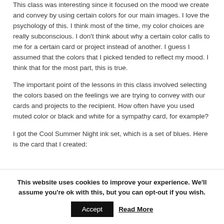This class was interesting since it focused on the mood we create and convey by using certain colors for our main images. I love the psychology of this. I think most of the time, my color choices are really subconscious. I don't think about why a certain color calls to me for a certain card or project instead of another. I guess I assumed that the colors that I picked tended to reflect my mood. I think that for the most part, this is true.
The important point of the lessons in this class involved selecting the colors based on the feelings we are trying to convey with our cards and projects to the recipient. How often have you used muted color or black and white for a sympathy card, for example?
I got the Cool Summer Night ink set, which is a set of blues. Here is the card that I created:
[Figure (photo): A narrow horizontal strip showing part of a decorative card image, partially obscured by a cookie consent banner.]
This website uses cookies to improve your experience. We'll assume you're ok with this, but you can opt-out if you wish. Accept  Read More